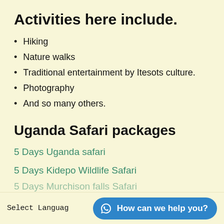Activities here include.
Hiking
Nature walks
Traditional entertainment by Itesots culture.
Photography
And so many others.
Uganda Safari packages
5 Days Uganda safari
5 Days Kidepo Wildlife Safari
5 Days Murchison falls Safari
Select Language
How can we help you?
4 Days Uganda Gorilla Safari